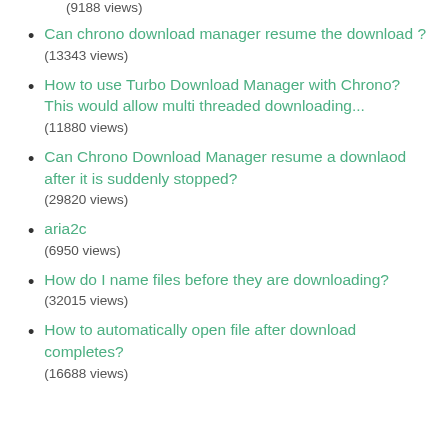(9188 views)
Can chrono download manager resume the download ?
(13343 views)
How to use Turbo Download Manager with Chrono? This would allow multi threaded downloading...
(11880 views)
Can Chrono Download Manager resume a downlaod after it is suddenly stopped?
(29820 views)
aria2c
(6950 views)
How do I name files before they are downloading?
(32015 views)
How to automatically open file after download completes?
(16688 views)